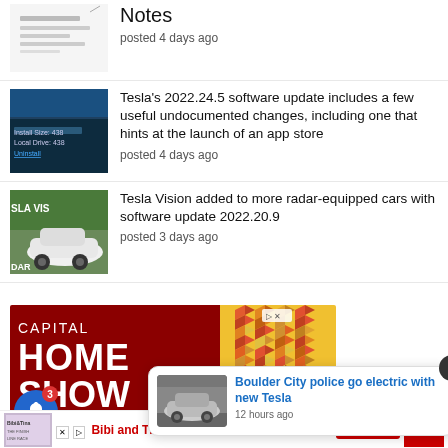[Figure (screenshot): Thumbnail image showing document/notes screenshot]
Notes
posted 4 days ago
[Figure (screenshot): Thumbnail showing Tesla software update screen with Install Size and Local Drive fields]
Tesla's 2022.24.5 software update includes a few useful undocumented changes, including one that hints at the launch of an app store
posted 4 days ago
[Figure (screenshot): Thumbnail showing white Tesla car with Tesla Vision / DAR text overlay]
Tesla Vision added to more radar-equipped cars with software update 2022.20.9
posted 3 days ago
[Figure (infographic): Capital Home Show advertisement banner, Sept. 23-25, Expo Center, with colorful geometric pattern]
[Figure (screenshot): Popup notification showing Boulder City police go electric with new Tesla, 12 hours ago]
Boulder City police go electric with new Tesla
12 hours ago
Bibi and Tina - YouTube
Subscribe